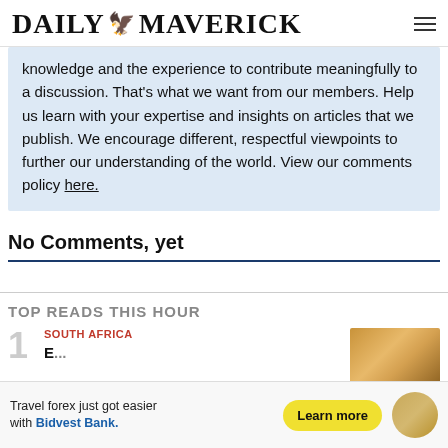DAILY MAVERICK
knowledge and the experience to contribute meaningfully to a discussion. That's what we want from our members. Help us learn with your expertise and insights on articles that we publish. We encourage different, respectful viewpoints to further our understanding of the world. View our comments policy here.
No Comments, yet
TOP READS THIS HOUR
1 SOUTH AFRICA
[Figure (photo): Thumbnail image of bread/baked goods in warm tones]
[Figure (screenshot): Advertisement banner: Travel forex just got easier with Bidvest Bank. Learn more button.]